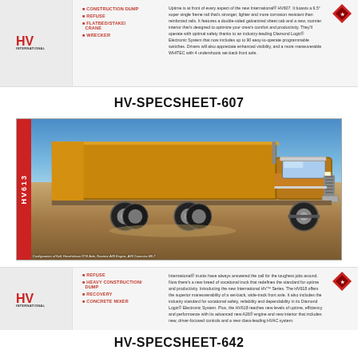[Figure (illustration): Top brochure section: HV logo on left, bullet list of applications (CONSTRUCTION DUMP, REFUSE, FLATBED/STAKE/CRANE, WRECKER), descriptive text about the International HV series truck features, and a diamond logo on the right.]
HV-SPECSHEET-607
[Figure (photo): Large photo of an International HV613 heavy-duty dump truck in gold/bronze and chrome color, driving on a dirt construction site with sand mounds and gravel piles in the background under a blue sky. Red vertical sidebar with 'HV613' text. Small caption at bottom left.]
Configuration of 6x4, Hendrickson RTE Axle, Navistar A26 Engine, A26 Cummins B6.7
[Figure (illustration): Bottom brochure section: HV logo on left, bullet list (REFUSE, HEAVY CONSTRUCTION/DUMP, RECOVERY, CONCRETE MIXER), descriptive text about International HV Series trucks, and a diamond logo on the right.]
HV-SPECSHEET-642